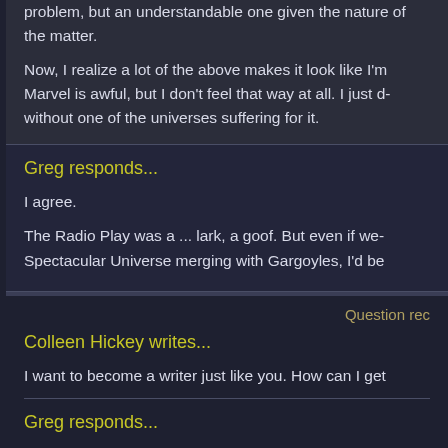problem, but an understandable one given the nature of the matter.
Now, I realize a lot of the above makes it look like I'm saying Marvel is awful, but I don't feel that way at all. I just d... without one of the universes suffering for it.
Greg responds...
I agree.
The Radio Play was a ... lark, a goof. But even if we... Spectacular Universe merging with Gargoyles, I'd be...
Question rec...
Colleen Hickey writes...
I want to become a writer just like you. How can I get...
Greg responds...
The above... And the above confirms...